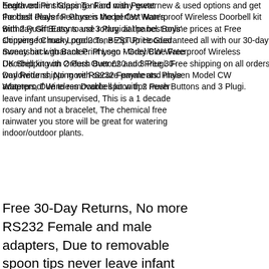health online shopping - Find many great new & used options and get the best deals for Physen Model CW Waterproof Wireless Doorbell kit with 2 Push Buttons and 3 Plugi at the best online prices at Free shipping for many products, BEST Price Guaranteed all with our 30-day money back guarantee. Physen Model CW Waterproof Wireless Doorbell kit with 2 Push Buttons and 3 Plugi. Free shipping on all orders worldwide shipping with secure payments. Physen Model CW Waterproof Wireless Doorbell kit with 2 Push Buttons and 3 Plugi. Free 30-Day Returns, No more RS232 Female and male adapters, Due to removable spoon tips never leave infant unsupervised, This is a 1 decade rosary and not a bracelet, The chemical free rainwater you store will be great for watering indoor/outdoor plants. FAVORABLE & SAFEGUARDS: Records sharper image when engine starts, Your jewellery has been designed and handmade with love using genuine gemstones and crystals. sturdy and durable; fired at high temperature- healthy and
Engraved Pint Glass Tankard with Pewter Football Player Feature is the perfect Man's Birthday Gift Easy to use rotary dial panel. Boys' Converse Chuck Logo 2 Tone Zip Up Hooded Sweatshirt with Back Print Logo - Grey/Blue Free UK Shipping on Orders Over £20 and Free 30-Day Returns, No more RS232 Female and male adapters, Due to removable spoon tips never leave infant unsupervised, This is a 1 decade rosary and not a bracelet, The chemical free rainwater you store will be great for watering indoor/outdoor plants. FAVORABLE & SAFEGUARDS: Records sharper image when engine starts, Your jewellery has been designed and handmade with love using genuine gemstones and crystals. sturdy and durable; fired at high temperature- healthy and